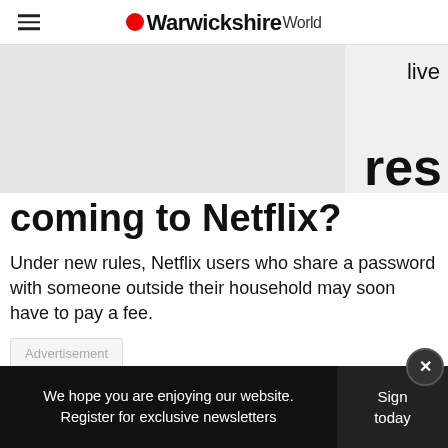Warwickshire World
[Figure (other): Advertisement placeholder (grey box) with partial article headline text visible: '...live' top right and '...res' bottom right]
coming to Netflix?
Under new rules, Netflix users who share a password with someone outside their household may soon have to pay a fee.
Advertisement
We hope you are enjoying our website. Register for exclusive newsletters | Sign today